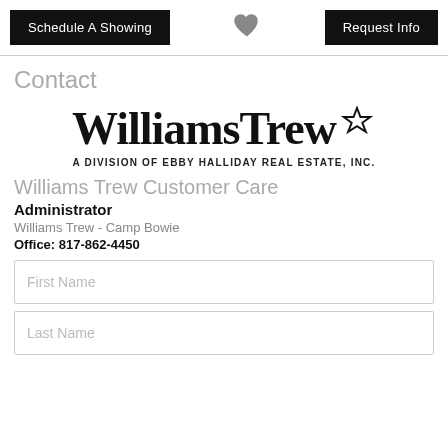Schedule A Showing  [heart]  Request Info
Contact
[Figure (logo): WilliamsTrew logo with star icon and tagline: A DIVISION OF EBBY HALLIDAY REAL ESTATE, INC.]
Williams Trew Customer Care
Administrator
Williams Trew - Camp Bowie
Office: 817-862-4450
First Name
Last Name